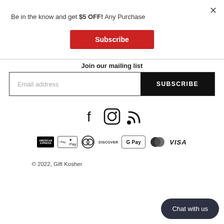× (close button)
Be in the know and get $5 OFF! Any Purchase
Subscribe
Join our mailing list
Email address
SUBSCRIBE
[Figure (infographic): Social media icons: Facebook, Instagram, RSS feed]
[Figure (infographic): Payment method icons: American Express, Apple Pay, Diners Club, Discover, Google Pay, Mastercard, Visa]
© 2022, Gift Kosher
Chat with us